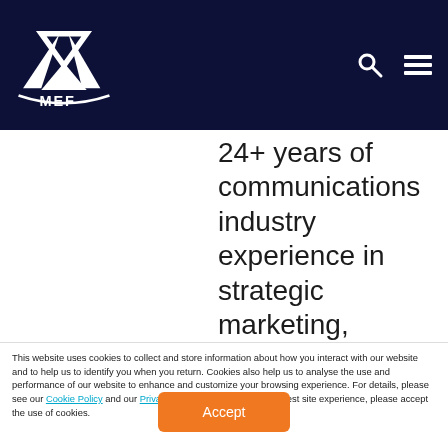MEF logo and navigation header
24+ years of communications industry experience in strategic marketing, industry analysis, analyst relations, public relations, and global event programming. In 2013, he joined MEF, where he has held various roles as
This website uses cookies to collect and store information about how you interact with our website and to help us to identify you when you return. Cookies also help us to analyse the use and performance of our website to enhance and customize your browsing experience. For details, please see our Cookie Policy and our Privacy Policy. To provide you the best site experience, please accept the use of cookies.
Accept